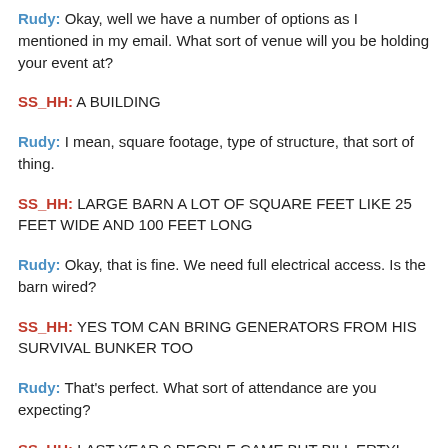Rudy: Okay, well we have a number of options as I mentioned in my email. What sort of venue will you be holding your event at?
SS_HH: A BUILDING
Rudy: I mean, square footage, type of structure, that sort of thing.
SS_HH: LARGE BARN A LOT OF SQUARE FEET LIKE 25 FEET WIDE AND 100 FEET LONG
Rudy: Okay, that is fine. We need full electrical access. Is the barn wired?
SS_HH: YES TOM CAN BRING GENERATORS FROM HIS SURVIVAL BUNKER TOO
Rudy: That's perfect. What sort of attendance are you expecting?
SS_HH: LAST YEAR 9 PEOPLE CAME BUT BILL ERTYL DIED FROM EMPHAZEEMA
Rudy: I'm sorry to hear that, but are you sure nine people is worth